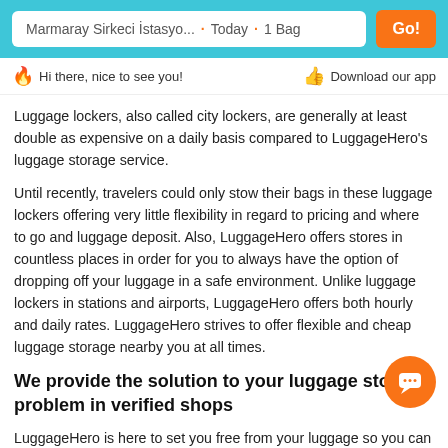Marmaray Sirkeci İstasyo... · Today · 1 Bag   Go!
Hi there, nice to see you!   Download our app
Luggage lockers, also called city lockers, are generally at least double as expensive on a daily basis compared to LuggageHero's luggage storage service.
Until recently, travelers could only stow their bags in these luggage lockers offering very little flexibility in regard to pricing and where to go and luggage deposit. Also, LuggageHero offers stores in countless places in order for you to always have the option of dropping off your luggage in a safe environment. Unlike luggage lockers in stations and airports, LuggageHero offers both hourly and daily rates. LuggageHero strives to offer flexible and cheap luggage storage nearby you at all times.
We provide the solution to your luggage storage problem in verified shops
LuggageHero is here to set you free from your luggage so you can explore Istanbul without your bags. Just go to our booking site to receive this storage service.